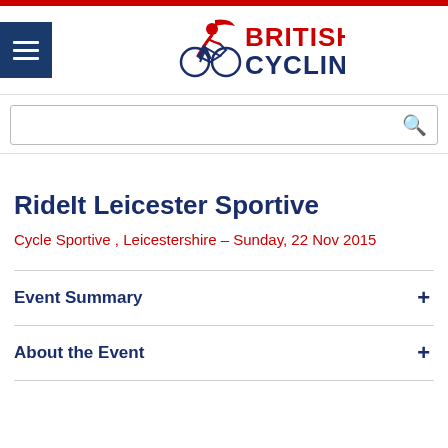[Figure (logo): British Cycling logo with cyclist figure and text BRITISH CYCLING in navy and red]
RideIt Leicester Sportive
Cycle Sportive , Leicestershire – Sunday, 22 Nov 2015
Event Summary
About the Event